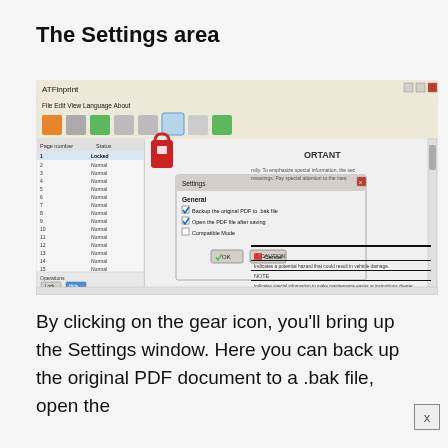The Settings area
[Figure (screenshot): A screenshot of a software application (ATFinprint) showing a settings dialog box overlaid on the main window. The settings dialog (labeled 'Settings') contains a 'General' section with checkboxes: 'Backup the original PDF to .bak file' (checked), 'Open the PDF file after saving' (checked), and 'Compatible Mode' (unchecked), along with OK and Cancel buttons. The main window behind shows a page list panel on the left with page numbers and statuses (Locked/Normal), an operations panel at the bottom left, and a PDF page with IMPORTANT, CAUTION, and NOTE sections on the right.]
By clicking on the gear icon, you'll bring up the Settings window. Here you can back up the original PDF document to a .bak file, open the